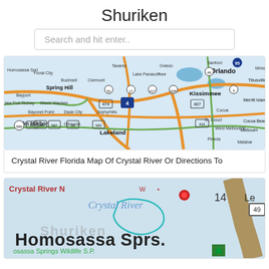Shuriken
Search and hit enter..
[Figure (map): Road map of central Florida showing Orlando, Kissimmee, Lakeland, Spring Hill, Palm Harbor, and surrounding cities with highway routes.]
Crystal River Florida Map Of Crystal River Or Directions To
[Figure (map): Close-up map photo showing Crystal River area with Homosassa Springs Wildlife S.P., roads, and a red location pin.]